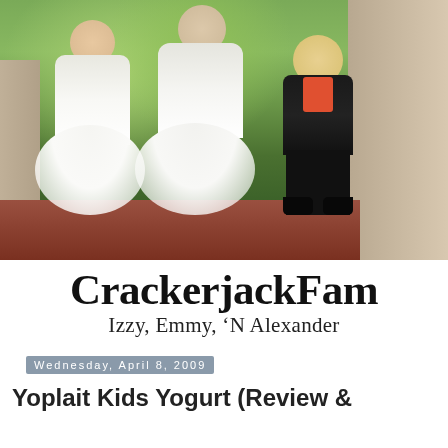[Figure (photo): Three young children dressed in formal wedding attire — two girls in white tulle dresses with light blue sashes and silver sandals, and a boy in a black tuxedo with an orange/coral bow tie and vest — seated on a brick ledge outdoors near stone walls and green trees.]
CrackerjackFam
Izzy, Emmy, ‘N Alexander
Wednesday, April 8, 2009
Yoplait Kids Yogurt (Review &